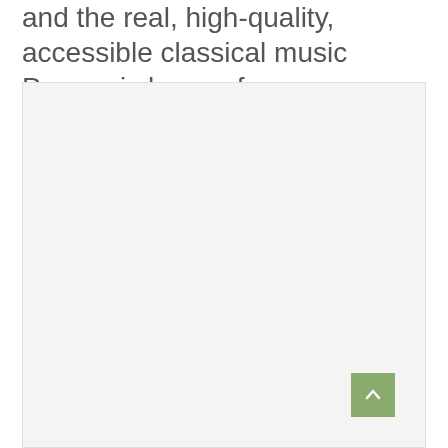and the real, high-quality, accessible classical music Prague is known for, go elsewhere.
[Figure (photo): A large light gray/beige placeholder image box occupying the lower portion of the page, with a scroll-to-top button (green square with upward chevron arrow) in the bottom-right corner.]